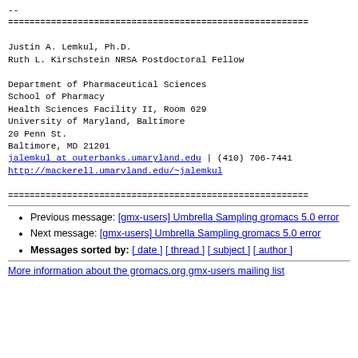--
========================================================
Justin A. Lemkul, Ph.D.
Ruth L. Kirschstein NRSA Postdoctoral Fellow

Department of Pharmaceutical Sciences
School of Pharmacy
Health Sciences Facility II, Room 629
University of Maryland, Baltimore
20 Penn St.
Baltimore, MD 21201
jalemkul at outerbanks.umaryland.edu | (410) 706-7441
http://mackerell.umaryland.edu/~jalemkul
========================================================
Previous message: [gmx-users] Umbrella Sampling gromacs 5.0 error
Next message: [gmx-users] Umbrella Sampling gromacs 5.0 error
Messages sorted by: [ date ] [ thread ] [ subject ] [ author ]
More information about the gromacs.org gmx-users mailing list